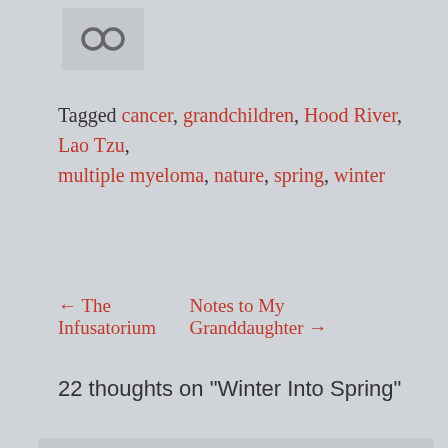[Figure (other): Chain link or infinity-like icon in gray]
Tagged cancer, grandchildren, Hood River, Lao Tzu, multiple myeloma, nature, spring, winter
← The Infusatorium   Notes to My Granddaughter →
22 thoughts on “Winter Into Spring”
Cindy Walsh  March 9, 2014 at 12:18 pm
What wonderful word images!